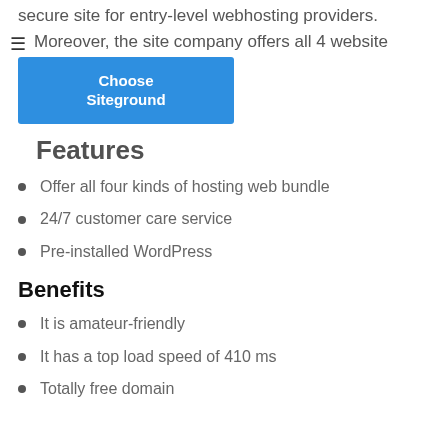secure site for entry-level webhosting providers.
Moreover, the site company offers all 4 website plans
[Figure (other): Blue 'Choose Siteground' button overlaid on text]
Features
Offer all four kinds of hosting web bundle
24/7 customer care service
Pre-installed WordPress
Benefits
It is amateur-friendly
It has a top load speed of 410 ms
Totally free domain